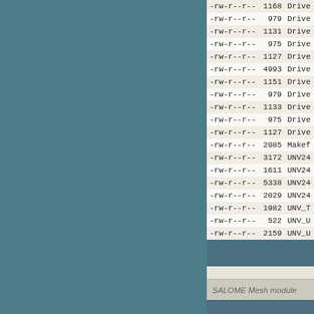| permissions | size | name |
| --- | --- | --- |
| -rw-r--r-- | 1168 | Drive |
| -rw-r--r-- | 979 | Drive |
| -rw-r--r-- | 1131 | Drive |
| -rw-r--r-- | 975 | Drive |
| -rw-r--r-- | 1127 | Drive |
| -rw-r--r-- | 4993 | Drive |
| -rw-r--r-- | 1151 | Drive |
| -rw-r--r-- | 979 | Drive |
| -rw-r--r-- | 1133 | Drive |
| -rw-r--r-- | 975 | Drive |
| -rw-r--r-- | 1127 | Drive |
| -rw-r--r-- | 2085 | Makef |
| -rw-r--r-- | 3172 | UNV24 |
| -rw-r--r-- | 1611 | UNV24 |
| -rw-r--r-- | 5338 | UNV24 |
| -rw-r--r-- | 2029 | UNV24 |
| -rw-r--r-- | 1982 | UNV_T |
| -rw-r--r-- | 522 | UNV_U |
| -rw-r--r-- | 2159 | UNV_U |
SALOME Mesh module